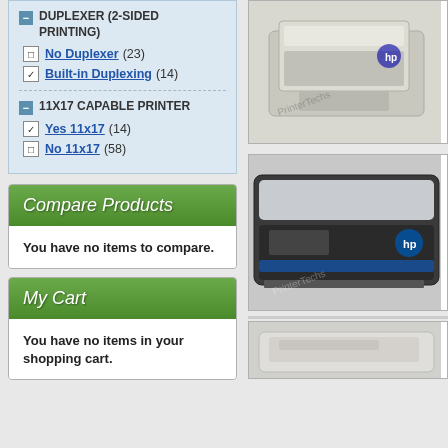DUPLEXER (2-SIDED PRINTING)
No Duplexer (23)
Built-in Duplexing (14)
11X17 CAPABLE PRINTER
Yes 11x17 (14)
No 11x17 (58)
Compare Products
You have no items to compare.
My Cart
You have no items in your shopping cart.
[Figure (photo): HP laser printer, light gray/beige color, top view angle]
[Figure (photo): HP color laser printer, dark gray and blue, front-side view]
[Figure (photo): HP printer, partially visible at bottom]